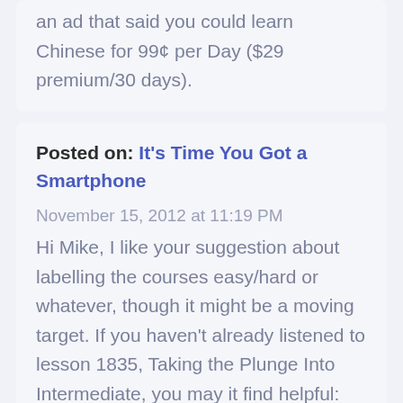an ad that said you could learn Chinese for 99¢ per Day ($29 premium/30 days).
Posted on: It's Time You Got a Smartphone
November 15, 2012 at 11:19 PM
Hi Mike, I like your suggestion about labelling the courses easy/hard or whatever, though it might be a moving target. If you haven't already listened to lesson 1835, Taking the Plunge Into Intermediate, you may it find helpful:
http://chinesepod.com/lessons/taking...